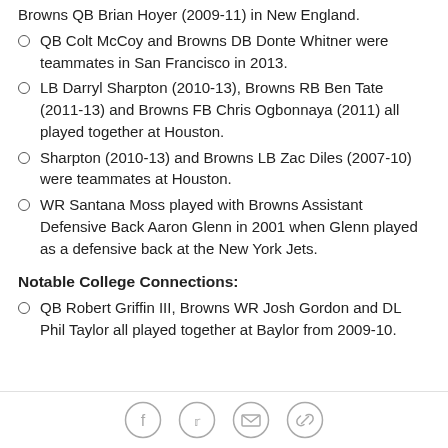Browns QB Brian Hoyer (2009-11) in New England.
QB Colt McCoy and Browns DB Donte Whitner were teammates in San Francisco in 2013.
LB Darryl Sharpton (2010-13), Browns RB Ben Tate (2011-13) and Browns FB Chris Ogbonnaya (2011) all played together at Houston.
Sharpton (2010-13) and Browns LB Zac Diles (2007-10) were teammates at Houston.
WR Santana Moss played with Browns Assistant Defensive Back Aaron Glenn in 2001 when Glenn played as a defensive back at the New York Jets.
Notable College Connections:
QB Robert Griffin III, Browns WR Josh Gordon and DL Phil Taylor all played together at Baylor from 2009-10.
Social share icons: Facebook, Twitter, Email, Link